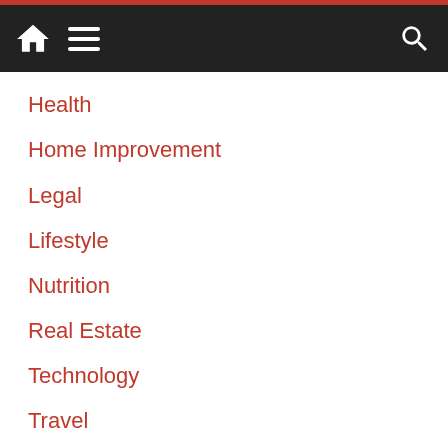Navigation menu header with home, menu, and search icons
Health
Home Improvement
Legal
Lifestyle
Nutrition
Real Estate
Technology
Travel
Translate
Select Language
Google
[Figure (infographic): Social media share icons: Facebook, Twitter, Email, Pinterest, WhatsApp, Reddit, Tumblr, More]